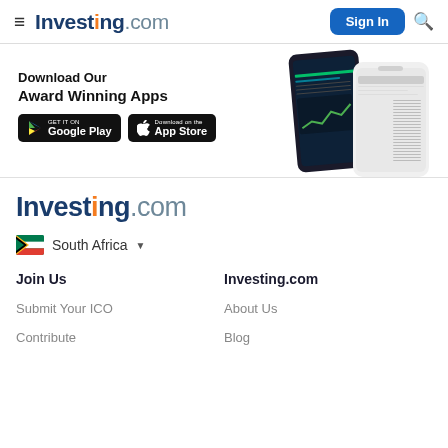Investing.com | Sign In
[Figure (screenshot): Promotional banner showing app download options for Google Play and App Store with phone mockups displaying the Investing.com app]
Investing.com
South Africa
Join Us
Investing.com
Submit Your ICO
Contribute
About Us
Blog